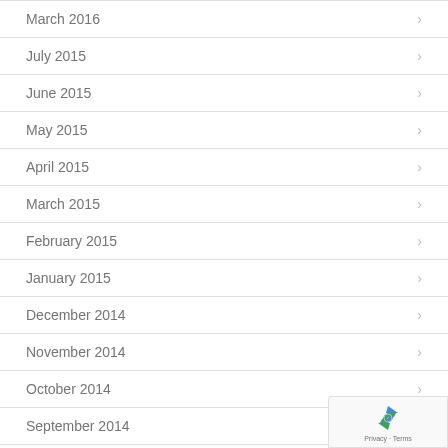March 2016
July 2015
June 2015
May 2015
April 2015
March 2015
February 2015
January 2015
December 2014
November 2014
October 2014
September 2014
August 2014